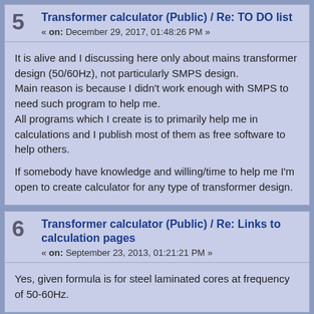5  Transformer calculator (Public) / Re: TO DO list « on: December 29, 2017, 01:48:26 PM »
It is alive and I discussing here only about mains transformer design (50/60Hz), not particularly SMPS design.
Main reason is because I didn't work enough with SMPS to need such program to help me.
All programs which I create is to primarily help me in calculations and I publish most of them as free software to help others.

If somebody have knowledge and willing/time to help me I'm open to create calculator for any type of transformer design.
6  Transformer calculator (Public) / Re: Links to calculation pages « on: September 23, 2013, 01:21:21 PM »
Yes, given formula is for steel laminated cores at frequency of 50-60Hz.